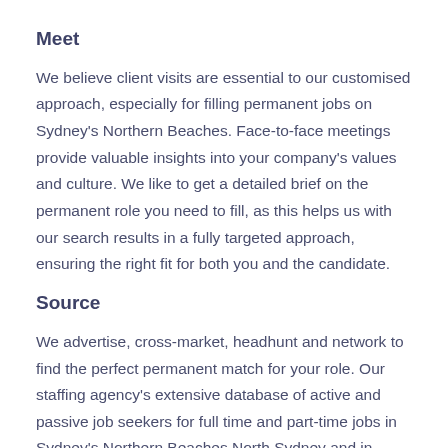Meet
We believe client visits are essential to our customised approach, especially for filling permanent jobs on Sydney's Northern Beaches. Face-to-face meetings provide valuable insights into your company's values and culture. We like to get a detailed brief on the permanent role you need to fill, as this helps us with our search results in a fully targeted approach, ensuring the right fit for both you and the candidate.
Source
We advertise, cross-market, headhunt and network to find the perfect permanent match for your role. Our staffing agency's extensive database of active and passive job seekers for full time and part-time jobs in Sydney's Northern Beaches North Sydney and in-house